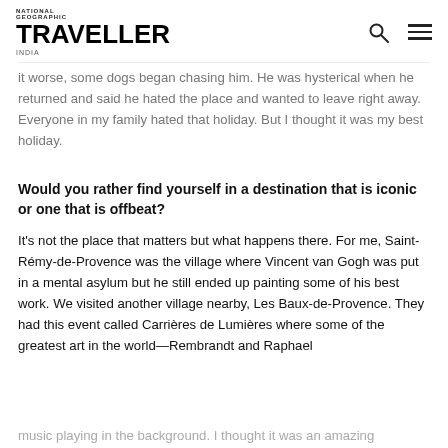TRAVELLER (National Geographic Traveller logo)
it worse, some dogs began chasing him. He was hysterical when he returned and said he hated the place and wanted to leave right away. Everyone in my family hated that holiday. But I thought it was my best holiday.
Would you rather find yourself in a destination that is iconic or one that is offbeat?
It’s not the place that matters but what happens there. For me, Saint-Rémy-de-Provence was the village where Vincent van Gogh was put in a mental asylum but he still ended up painting some of his best work. We visited another village nearby, Les Baux-de-Provence. They had this event called Carrières de Lumières where some of the greatest art in the world—Rembrandt and Raphael
music playing in the background. I thought it was an amazing